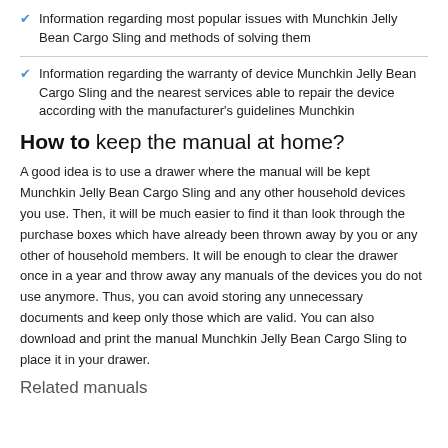Information regarding most popular issues with Munchkin Jelly Bean Cargo Sling and methods of solving them
Information regarding the warranty of device Munchkin Jelly Bean Cargo Sling and the nearest services able to repair the device according with the manufacturer's guidelines Munchkin
How to keep the manual at home?
A good idea is to use a drawer where the manual will be kept Munchkin Jelly Bean Cargo Sling and any other household devices you use. Then, it will be much easier to find it than look through the purchase boxes which have already been thrown away by you or any other of household members. It will be enough to clear the drawer once in a year and throw away any manuals of the devices you do not use anymore. Thus, you can avoid storing any unnecessary documents and keep only those which are valid. You can also download and print the manual Munchkin Jelly Bean Cargo Sling to place it in your drawer.
Related manuals